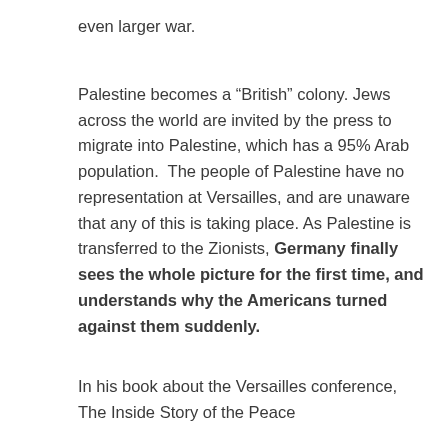even larger war.
Palestine becomes a “British” colony. Jews across the world are invited by the press to migrate into Palestine, which has a 95% Arab population.  The people of Palestine have no representation at Versailles, and are unaware that any of this is taking place. As Palestine is transferred to the Zionists, Germany finally sees the whole picture for the first time, and understands why the Americans turned against them suddenly.
In his book about the Versailles conference, The Inside Story of the Peace